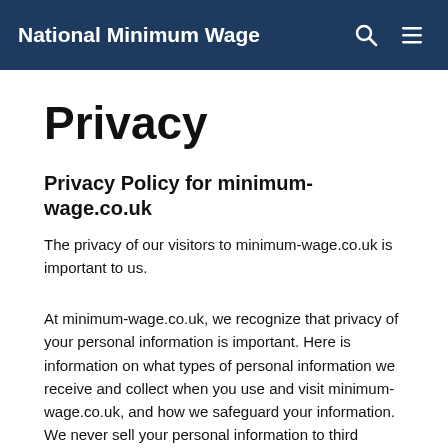National Minimum Wage
Privacy
Privacy Policy for minimum-wage.co.uk
The privacy of our visitors to minimum-wage.co.uk is important to us.
At minimum-wage.co.uk, we recognize that privacy of your personal information is important. Here is information on what types of personal information we receive and collect when you use and visit minimum-wage.co.uk, and how we safeguard your information. We never sell your personal information to third